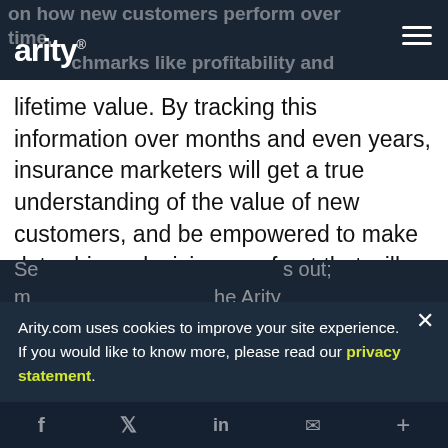arity® — on how new customers perform over time, benchmarks like profitability and
lifetime value. By tracking this information over months and even years, insurance marketers will get a true understanding of the value of new customers, and be empowered to make data-driven decisions up-front that will result in long-term gains and the strongest book of business for their company overall.
So the AdFeatres article points out; marketers who are familiar the Arity
Arity.com uses cookies to improve your site experience. If you would like to know more, please read our privacy statement.